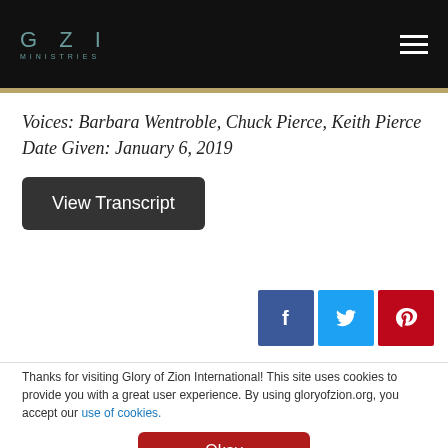GZI MINISTRIES
Voices: Barbara Wentroble, Chuck Pierce, Keith Pierce
Date Given: January 6, 2019
View Transcript
[Figure (infographic): Social share buttons: Facebook (blue), Twitter (light blue), Pinterest (red)]
Thanks for visiting Glory of Zion International! This site uses cookies to provide you with a great user experience. By using gloryofzion.org, you accept our use of cookies.
Okay